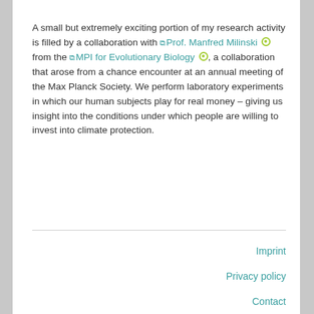A small but extremely exciting portion of my research activity is filled by a collaboration with Prof. Manfred Milinski from the MPI for Evolutionary Biology, a collaboration that arose from a chance encounter at an annual meeting of the Max Planck Society. We perform laboratory experiments in which our human subjects play for real money – giving us insight into the conditions under which people are willing to invest into climate protection.
Imprint | Privacy policy | Contact | Internal